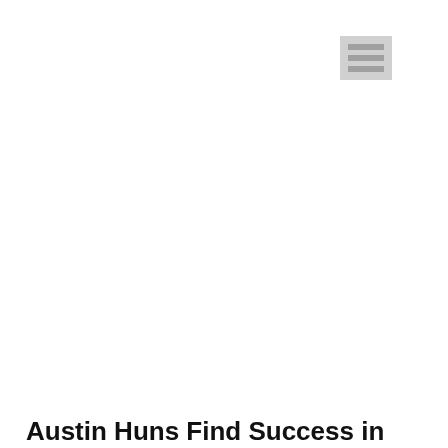[Figure (logo): Hamburger menu icon - three horizontal lines in a grey box]
[Figure (logo): Austin Huns logo - warrior figure with helmet on blue background with bold text AUSTIN HUNS]
Austin Huns Find Success in